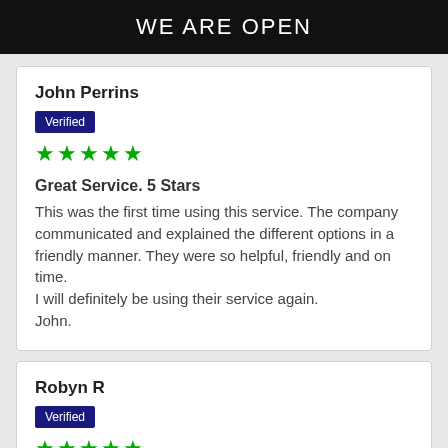WE ARE OPEN
John Perrins
Verified
★★★★★
Great Service. 5 Stars
This was the first time using this service. The company communicated and explained the different options in a friendly manner. They were so helpful, friendly and on time.
I will definitely be using their service again.
John.
Robyn R
Verified
★★★★★